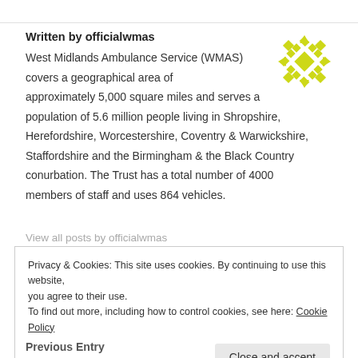Written by officialwmas
West Midlands Ambulance Service (WMAS) covers a geographical area of approximately 5,000 square miles and serves a population of 5.6 million people living in Shropshire, Herefordshire, Worcestershire, Coventry & Warwickshire, Staffordshire and the Birmingham & the Black Country conurbation. The Trust has a total number of 4000 members of staff and uses 864 vehicles.
[Figure (logo): WMAS decorative geometric logo in yellow-green (chartreuse) color, diamond/star pattern made of smaller squares and triangles arranged in a circle.]
View all posts by officialwmas
Privacy & Cookies: This site uses cookies. By continuing to use this website, you agree to their use.
To find out more, including how to control cookies, see here: Cookie Policy
Close and accept
Previous Entry